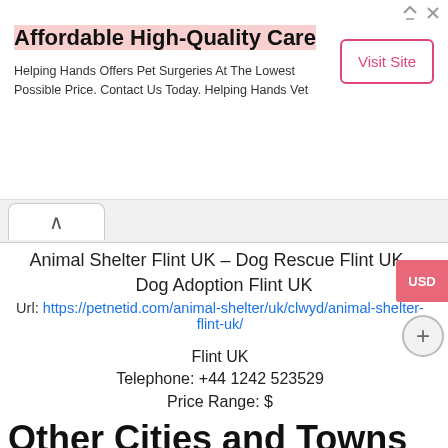[Figure (screenshot): Advertisement banner for Helping Hands Vet with Visit Site button]
Animal Shelter Flint UK – Dog Rescue Flint UK – Dog Adoption Flint UK
Url: https://petnetid.com/animal-shelter/uk/clwyd/animal-shelter-flint-uk/
Flint UK
Telephone: +44 1242 523529
Price Range: $
Other Cities and Towns with Animal Shelters near Flint UK